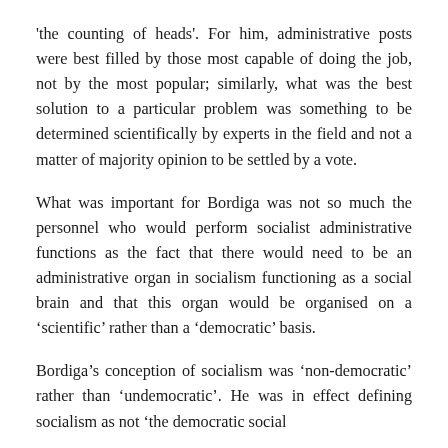'the counting of heads'. For him, administrative posts were best filled by those most capable of doing the job, not by the most popular; similarly, what was the best solution to a particular problem was something to be determined scientifically by experts in the field and not a matter of majority opinion to be settled by a vote.
What was important for Bordiga was not so much the personnel who would perform socialist administrative functions as the fact that there would need to be an administrative organ in socialism functioning as a social brain and that this organ would be organised on a 'scientific' rather than a 'democratic' basis.
Bordiga's conception of socialism was 'non-democratic' rather than 'undemocratic'. He was in effect defining socialism as not 'the democratic social